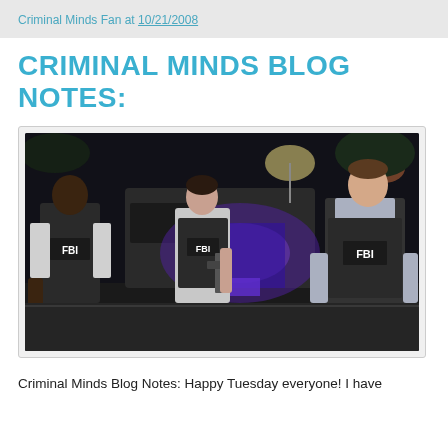Criminal Minds Fan at 10/21/2008
CRIMINAL MINDS BLOG NOTES:
[Figure (photo): Three FBI agents in tactical vests labeled 'FBI' standing near a dark van at night with blue and purple lights in background. Left agent is a tall Black man, center is a woman holding a weapon, right is a man in a gray shirt.]
Criminal Minds Blog Notes: Happy Tuesday everyone! I have